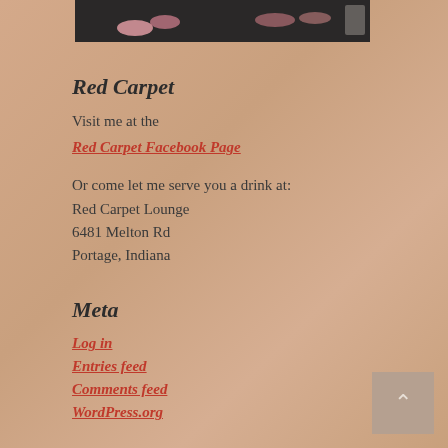[Figure (photo): Partial photo strip at top showing feet/shoes on dark ground surface]
Red Carpet
Visit me at the
Red Carpet Facebook Page
Or come let me serve you a drink at:
Red Carpet Lounge
6481 Melton Rd
Portage, Indiana
Meta
Log in
Entries feed
Comments feed
WordPress.org